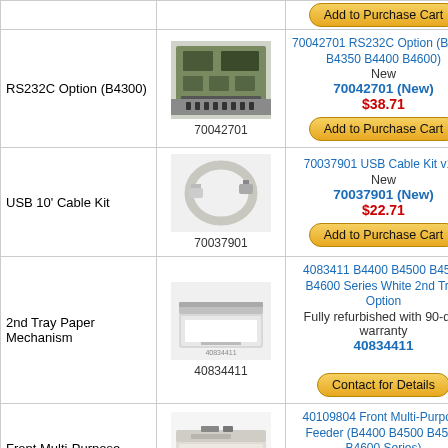| Product Name | Image / Part# | Details / Price / Action |
| --- | --- | --- |
| RS232C Option (B4300) | 70042701 | 70042701 RS232C Option (B4300 B4350 B4400 B4600)
New
70042701 (New)
$38.71
Add to Purchase Cart |
| USB 10' Cable Kit | 70037901 | 70037901 USB Cable Kit v1.1
New
70037901 (New)
$22.71
Add to Purchase Cart |
| 2nd Tray Paper Mechanism | 40834411 | 4083411 B4400 B4500 B4550 B4600 Series White 2nd Tray Option
Fully refurbished with 90-day warranty
40834411
Contact for Details |
| Front Multi-Purpose Feeder (beige) | 40109804 | 40109804 Front Multi-Purpose Feeder (B4400 B4500 B4550 B4600 Series)
New
40109804 (New)
$153.70 |